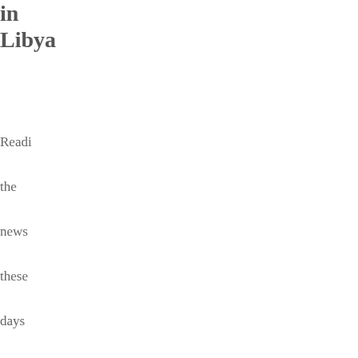...omit in Libya
Reading the news these days has become much harder. I'm sure you've heard of the hundreds of